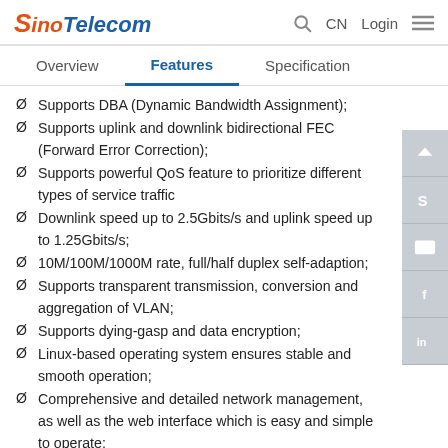SinoTelecom | CN Login
Overview  Features  Specification
Supports DBA (Dynamic Bandwidth Assignment);
Supports uplink and downlink bidirectional FEC (Forward Error Correction);
Supports powerful QoS feature to prioritize different types of service traffic
Downlink speed up to 2.5Gbits/s and uplink speed up to 1.25Gbits/s;
10M/100M/1000M rate, full/half duplex self-adaption;
Supports transparent transmission, conversion and aggregation of VLAN;
Supports dying-gasp and data encryption;
Linux-based operating system ensures stable and smooth operation;
Comprehensive and detailed network management, as well as the web interface which is easy and simple to operate;
Concise and clear indicator light status enables quick and